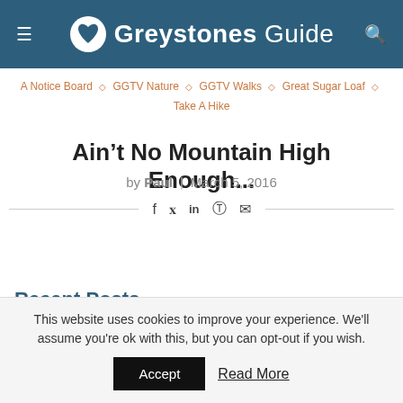Greystones Guide
A Notice Board ◇ GGTV Nature ◇ GGTV Walks ◇ Great Sugar Loaf ◇ Take A Hike
Ain't No Mountain High Enough...
by Paul | March 5, 2016
f in ⊕ ✉
Recent Posts
This website uses cookies to improve your experience. We'll assume you're ok with this, but you can opt-out if you wish.